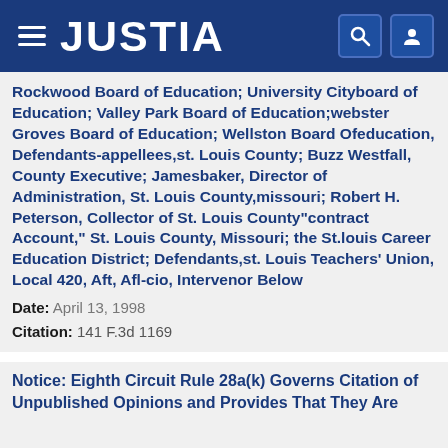JUSTIA
Rockwood Board of Education; University Cityboard of Education; Valley Park Board of Education;webster Groves Board of Education; Wellston Board Ofeducation, Defendants-appellees,st. Louis County; Buzz Westfall, County Executive; Jamesbaker, Director of Administration, St. Louis County,missouri; Robert H. Peterson, Collector of St. Louis County"contract Account," St. Louis County, Missouri; the St.louis Career Education District; Defendants,st. Louis Teachers' Union, Local 420, Aft, Afl-cio, Intervenor Below
Date: April 13, 1998
Citation: 141 F.3d 1169
Notice: Eighth Circuit Rule 28a(k) Governs Citation of Unpublished Opinions and Provides That They Are